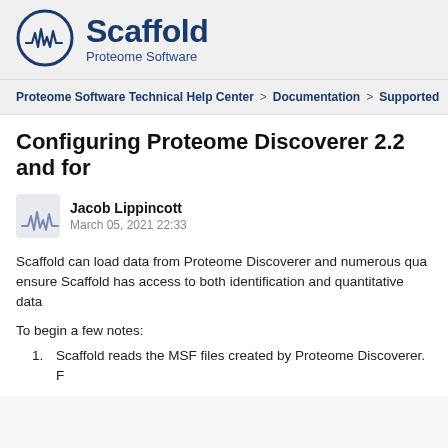[Figure (logo): Scaffold Proteome Software logo with circular waveform icon and bold text]
Proteome Software Technical Help Center > Documentation > Supported
Configuring Proteome Discoverer 2.2 and for
Jacob Lippincott
March 05, 2021 22:33
Scaffold can load data from Proteome Discoverer and numerous qua ensure Scaffold has access to both identification and quantitative data
To begin a few notes:
Scaffold reads the MSF files created by Proteome Discoverer. F